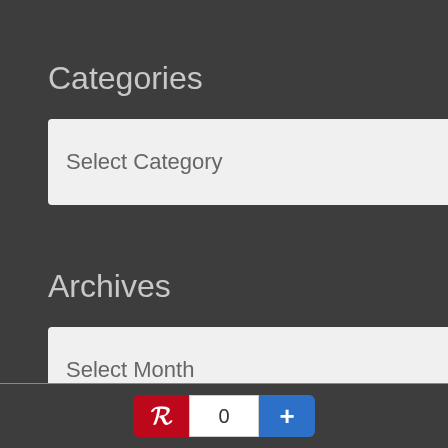Categories
[Figure (screenshot): Select Category dropdown widget with chevron]
Archives
[Figure (screenshot): Select Month dropdown widget with chevron]
Pinterest share button with count 0 and plus button